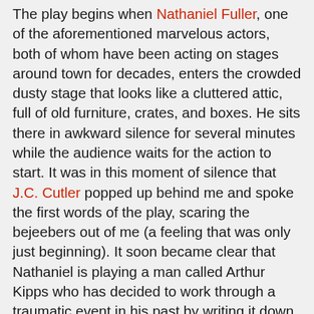The play begins when Nathaniel Fuller, one of the aforementioned marvelous actors, both of whom have been acting on stages around town for decades, enters the crowded dusty stage that looks like a cluttered attic, full of old furniture, crates, and boxes. He sits there in awkward silence for several minutes while the audience waits for the action to start. It was in this moment of silence that J.C. Cutler popped up behind me and spoke the first words of the play, scaring the bejeebers out of me (a feeling that was only just beginning). It soon became clear that Nathaniel is playing a man called Arthur Kipps who has decided to work through a traumatic event in his past by writing it down as a play. J.C. is the actor who helps him tell his story. Eventually we get to the meat of the story, with the actor portraying Kipps as he journeys to a remote part of England to close the estate of a recently deceased client. Kipps himself plays all of the other roles in the story, and as the play-within-a-play goes on he gets more and more comfortable in the telling. The two occasionally break out of character to discuss things, or if Kipps is too upset with the subject matter, hinting at the terror to come. It's a clever way to tell the story, on the one hand the characters are sort of outside